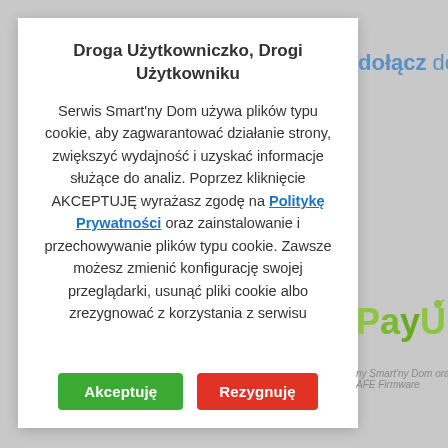Droga Użytkowniczko, Drogi Użytkowniku
Serwis Smart'ny Dom używa plików typu cookie, aby zagwarantować działanie strony, zwiększyć wydajność i uzyskać informacje służące do analiz. Poprzez kliknięcie AKCEPTUJĘ wyrażasz zgodę na Politykę Prywatności oraz zainstalowanie i przechowywanie plików typu cookie. Zawsze możesz zmienić konfigurację swojej przeglądarki, usunąć pliki cookie albo zrezygnować z korzystania z serwisu
Akceptuję
Rezygnuję
dołącz do
[Figure (logo): PayU logo in green gradient]
ny Smart'ny Dom oraz AFE Firmware